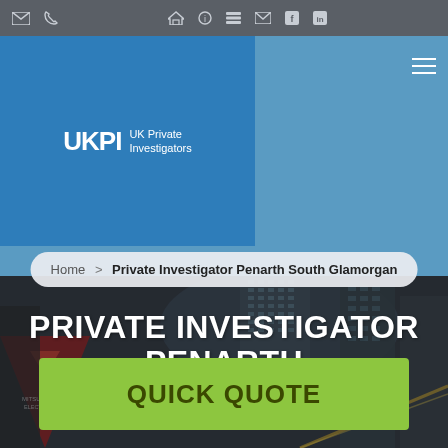[Figure (screenshot): Website screenshot of UK Private Investigators page for Penarth South Glamorgan. Shows navigation bar with icons at top, blue header with UKPI logo, city skyline background photo, breadcrumb navigation, hero title 'PRIVATE INVESTIGATOR PENARTH', subtitle 'Premier Penarth agency', and a lime green Quick Quote button.]
Home > Private Investigator Penarth South Glamorgan
PRIVATE INVESTIGATOR PENARTH
Premier Penarth agency
QUICK QUOTE